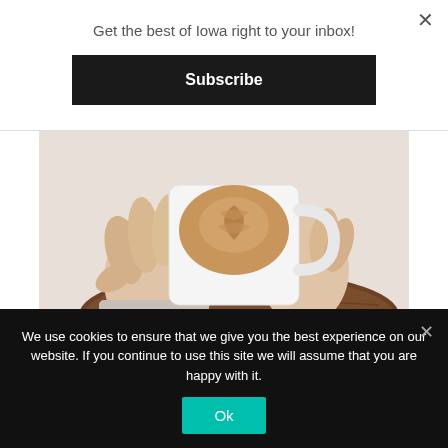Get the best of Iowa right to your inbox!
Subscribe
[Figure (photo): Close-up photo of hands holding a white coffee mug with latte art on a dark wooden board]
Visit Quad Cities Launches QC Coffee Trail
We use cookies to ensure that we give you the best experience on our website. If you continue to use this site we will assume that you are happy with it.
Ok